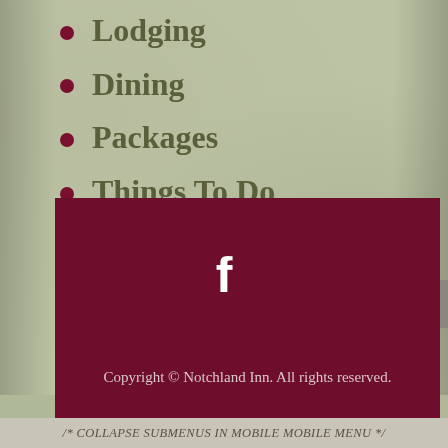Lodging
Dining
Packages
Things To Do
Weddings
Directions
[Figure (logo): Facebook icon (letter f) in white on dark burgundy background]
Copyright © Notchland Inn. All rights reserved.
/* COLLAPSE SUBMENUS IN MOBILE MOBILE MENU */